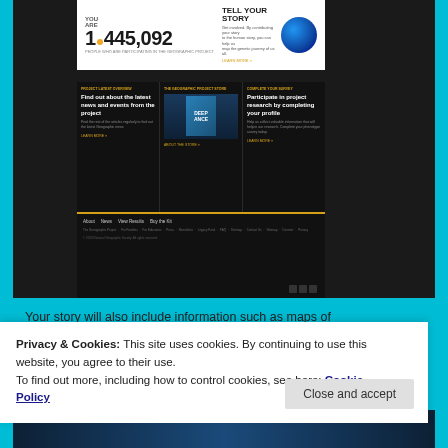[Figure (screenshot): Screenshot of a National Geographic Project website showing a participant counter 'YOU ARE 1,445,092', 'TELL YOUR STORY' section with globe graphic, and three content columns: 'PROJECT LATEST OVERVIEW', 'THE GEOGRAPHIC PROJECT STORE', and 'COMPLETE YOUR SURVEY'. Below is a dark footer with navigation links and a gold divider.]
Your story will also include information such as maps of
Privacy & Cookies: This site uses cookies. By continuing to use this website, you agree to their use.
To find out more, including how to control cookies, see here: Cookie Policy